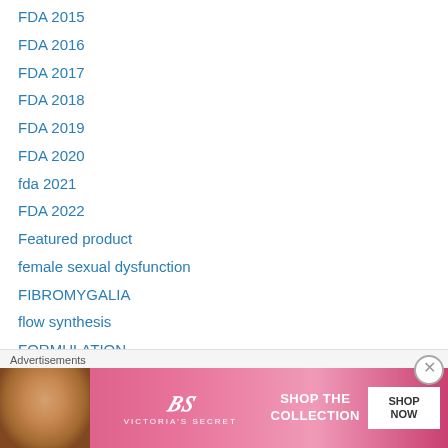FDA 2015
FDA 2016
FDA 2017
FDA 2018
FDA 2019
FDA 2020
fda 2021
FDA 2022
Featured product
female sexual dysfunction
FIBROMYGALIA
flow synthesis
FORMULATION
GAIN
Gastric Proton Pump Inhibitor
Generating Antibiotic Incentives Now
[Figure (infographic): Victoria's Secret advertisement banner with a model photo on the left, VS logo in center, 'SHOP THE COLLECTION' text, and a white 'SHOP NOW' button on the right, with 'Advertisements' label above.]